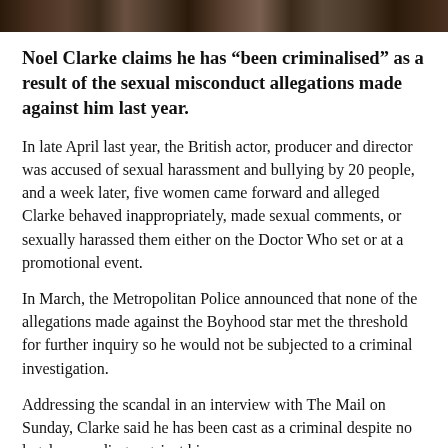[Figure (photo): Dark cropped image bar showing partial faces/figures, appearing to be a news article header photo]
Noel Clarke claims he has “been criminalised” as a result of the sexual misconduct allegations made against him last year.
In late April last year, the British actor, producer and director was accused of sexual harassment and bullying by 20 people, and a week later, five women came forward and alleged Clarke behaved inappropriately, made sexual comments, or sexually harassed them either on the Doctor Who set or at a promotional event.
In March, the Metropolitan Police announced that none of the allegations made against the Boyhood star met the threshold for further inquiry so he would not be subjected to a criminal investigation.
Addressing the scandal in an interview with The Mail on Sunday, Clarke said he has been cast as a criminal despite no legal proceedings against him.